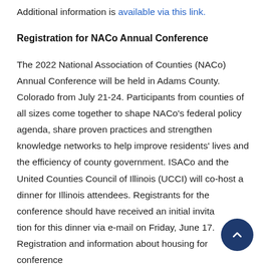Additional information is available via this link.
Registration for NACo Annual Conference
The 2022 National Association of Counties (NACo) Annual Conference will be held in Adams County. Colorado from July 21-24. Participants from counties of all sizes come together to shape NACo's federal policy agenda, share proven practices and strengthen knowledge networks to help improve residents' lives and the efficiency of county government. ISACo and the United Counties Council of Illinois (UCCI) will co-host a dinner for Illinois attendees. Registrants for the conference should have received an initial invitation for this dinner via e-mail on Friday, June 17. Registration and information about housing for conference